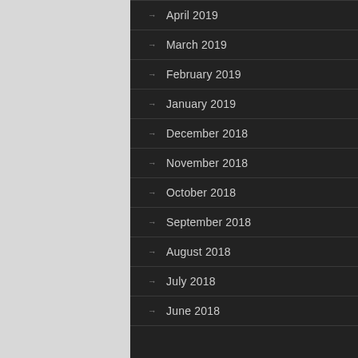April 2019
March 2019
February 2019
January 2019
December 2018
November 2018
October 2018
September 2018
August 2018
July 2018
June 2018